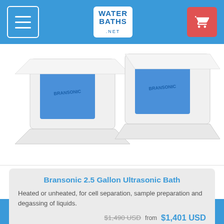WaterBaths.net
[Figure (photo): Two white Bransonic ultrasonic bath units with blue interiors, shown side by side]
Bransonic 2.5 Gallon Ultrasonic Bath
Heated or unheated, for cell separation, sample preparation and degassing of liquids.
$1,490 USD from $1,401 USD
On sale
+1 603-652-1395